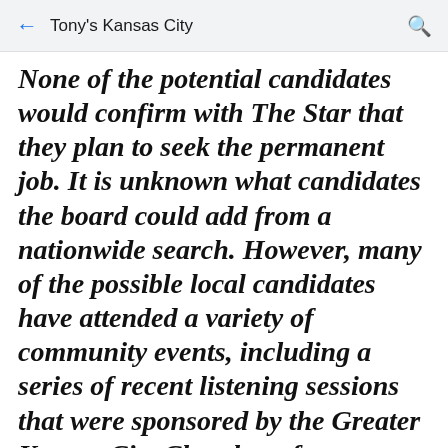Tony's Kansas City
None of the potential candidates would confirm with The Star that they plan to seek the permanent job. It is unknown what candidates the board could add from a nationwide search. However, many of the possible local candidates have attended a variety of community events, including a series of recent listening sessions that were sponsored by the Greater Kansas City Chamber of Commerce